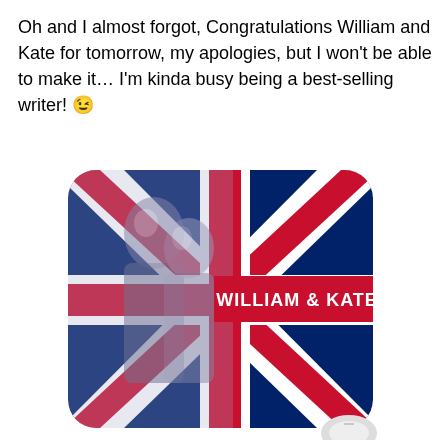Oh and I almost forgot, Congratulations William and Kate for tomorrow, my apologies, but I won't be able to make it… I'm kinda busy being a best-selling writer! 😉
[Figure (illustration): A mouse pad featuring the Union Jack (UK flag) design with a black-and-white photo of William and Kate overlaid on the left side, and bold white text 'WILLIAM & KATE' on a red stripe on the right side. A computer mouse is partially visible at the bottom right.]